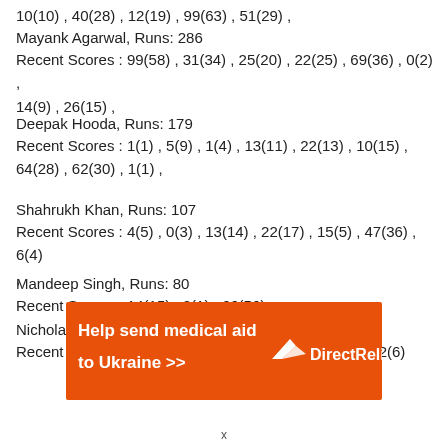10(10) , 40(28) , 12(19) , 99(63) , 51(29) ,
Mayank Agarwal, Runs: 286
Recent Scores : 99(58) , 31(34) , 25(20) , 22(25) , 69(36) , 0(2) , 14(9) , 26(15) ,
Deepak Hooda, Runs: 179
Recent Scores : 1(1) , 5(9) , 1(4) , 13(11) , 22(13) , 10(15) , 64(28) , 62(30) , 1(1) ,
Shahrukh Khan, Runs: 107
Recent Scores : 4(5) , 0(3) , 13(14) , 22(17) , 15(5) , 47(36) , 6(4) ,
Mandeep Singh, Runs: 80
Recent Scores : 14(15) , 0(1) , 66(56) ,
Nicholas Pooran, Runs: 54
Recent Scores : 0(2) , 10(10) , 0(0) , 0(8) , 0(2) , 0(1) , 2(6)
[Figure (infographic): Orange advertisement banner for DirectRelief: 'Help send medical aid to Ukraine >>' with DirectRelief logo on the right.]